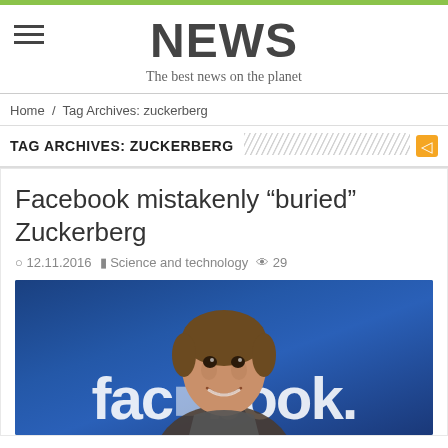NEWS
The best news on the planet
Home / Tag Archives: zuckerberg
TAG ARCHIVES: ZUCKERBERG
Facebook mistakenly “buried” Zuckerberg
12.11.2016   Science and technology   29
[Figure (photo): Photo of Mark Zuckerberg smiling in front of a Facebook logo blue background]